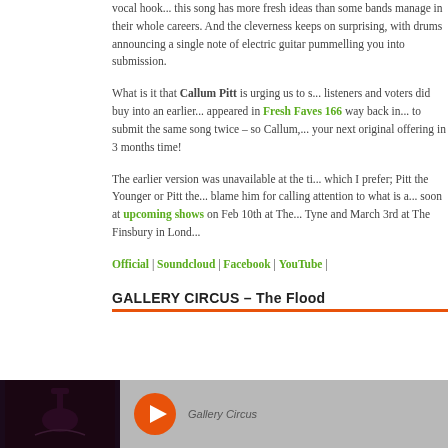vocal hook... this song has more fresh ideas than some bands manage in their whole careers. And the cleverness keeps on surprising, with drums announcing a single note of electric guitar pummelling you into submission.
What is it that Callum Pitt is urging us to s... listeners and voters did buy into an earlier... appeared in Fresh Faves 166 way back in... to submit the same song twice – so Callum,... your next original offering in 3 months time!
The earlier version was unavailable at the ti... which I prefer; Pitt the Younger or Pitt the... blame him for calling attention to what is a... soon at upcoming shows on Feb 10th at The... Tyne and March 3rd at The Finsbury in Lond...
Official | Soundcloud | Facebook | YouTube |
GALLERY CIRCUS – The Flood
[Figure (photo): Dark image with guitar silhouette on left panel; orange play button and Gallery Circus text on right panel]